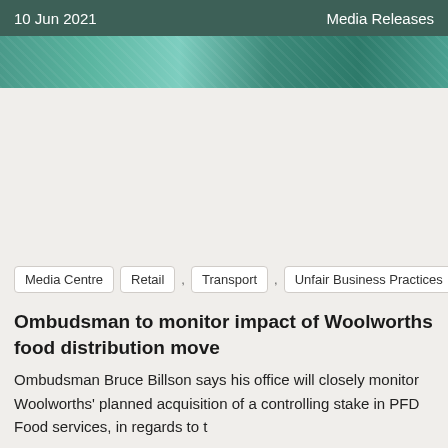10 Jun 2021    Media Releases
[Figure (photo): Decorative image strip with teal/green tones, partially cropped at top]
Media Centre   Retail ,   Transport ,   Unfair Business Practices
Ombudsman to monitor impact of Woolworths food distribution move
Ombudsman Bruce Billson says his office will closely monitor Woolworths' planned acquisition of a controlling stake in PFD Food services, in regards to t